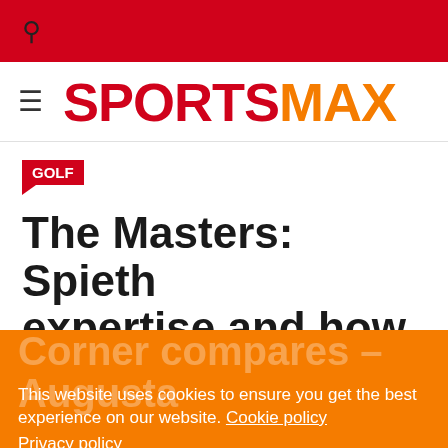🔍
SPORTSMAX
GOLF
The Masters: Spieth expertise and how Amen Corner compares – Augusta
This website uses cookies to ensure you get the best experience on our website. Cookie policy
Privacy policy
Decline | Allow cookies